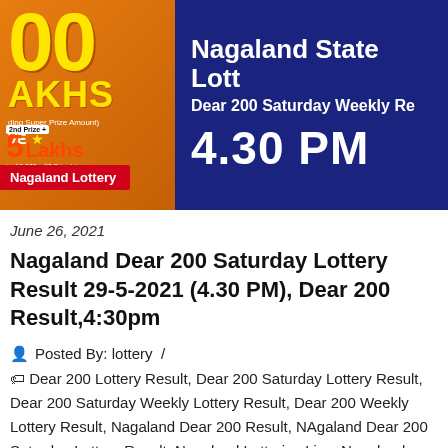[Figure (illustration): Nagaland State Lottery banner showing '200 LAKHS' prize in orange/yellow on left panel and 'Nagaland State Lottery Dear 200 Saturday Weekly Re... 4.30 PM' on dark blue right panel. 'Nagaland Lottery' red button at bottom left.]
June 26, 2021
Nagaland Dear 200 Saturday Lottery Result 29-5-2021 (4.30 PM), Dear 200 Result,4:30pm
Posted By: lottery /
Dear 200 Lottery Result, Dear 200 Saturday Lottery Result, Dear 200 Saturday Weekly Lottery Result, Dear 200 Weekly Lottery Result, Nagaland Dear 200 Result, NAgaland Dear 200 Saturday Lottery Result, Nagaland Lotteries Live, Nagaland Lotteries Result Live, Nagaland State Dear 200